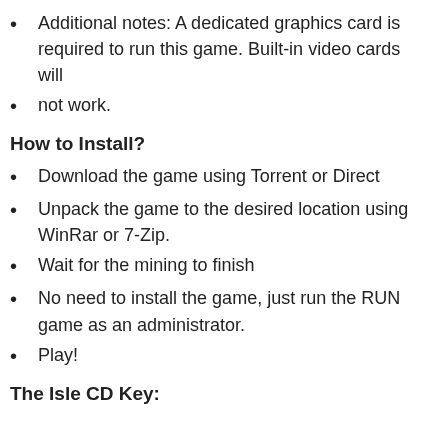Additional notes: A dedicated graphics card is required to run this game. Built-in video cards will
not work.
How to Install?
Download the game using Torrent or Direct
Unpack the game to the desired location using WinRar or 7-Zip.
Wait for the mining to finish
No need to install the game, just run the RUN game as an administrator.
Play!
The Isle CD Key: